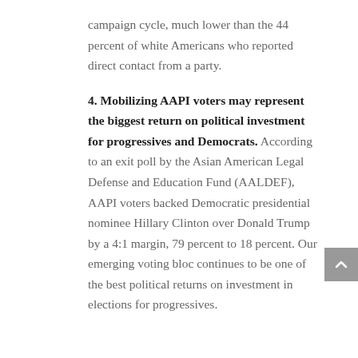campaign cycle, much lower than the 44 percent of white Americans who reported direct contact from a party.
4. Mobilizing AAPI voters may represent the biggest return on political investment for progressives and Democrats. According to an exit poll by the Asian American Legal Defense and Education Fund (AALDEF), AAPI voters backed Democratic presidential nominee Hillary Clinton over Donald Trump by a 4:1 margin, 79 percent to 18 percent. Our emerging voting bloc continues to be one of the best political returns on investment in elections for progressives.